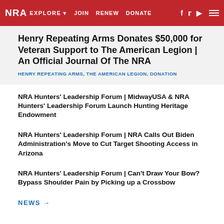NRA EXPLORE ▾  JOIN  RENEW  DONATE
Henry Repeating Arms Donates $50,000 for Veteran Support to The American Legion | An Official Journal Of The NRA
HENRY REPEATING ARMS, THE AMERICAN LEGION, DONATION
NRA Hunters' Leadership Forum | MidwayUSA & NRA Hunters' Leadership Forum Launch Hunting Heritage Endowment
NRA Hunters' Leadership Forum | NRA Calls Out Biden Administration's Move to Cut Target Shooting Access in Arizona
NRA Hunters' Leadership Forum | Can't Draw Your Bow? Bypass Shoulder Pain by Picking up a Crossbow
NEWS →